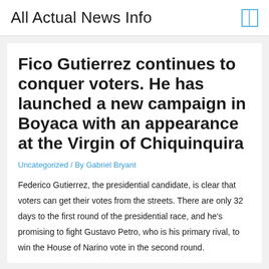All Actual News Info
Fico Gutierrez continues to conquer voters. He has launched a new campaign in Boyaca with an appearance at the Virgin of Chiquinquira
Uncategorized / By Gabriel Bryant
Federico Gutierrez, the presidential candidate, is clear that voters can get their votes from the streets. There are only 32 days to the first round of the presidential race, and he's promising to fight Gustavo Petro, who is his primary rival, to win the House of Narino vote in the second round.